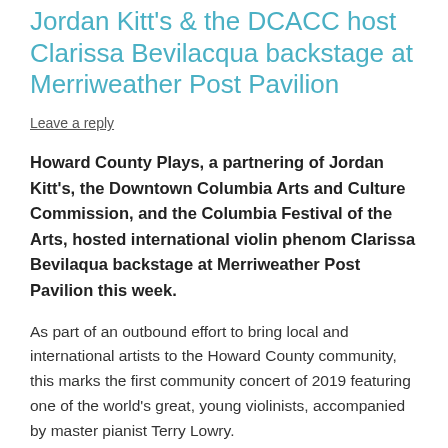Jordan Kitt's & the DCACC host Clarissa Bevilacqua backstage at Merriweather Post Pavilion
Leave a reply
Howard County Plays, a partnering of Jordan Kitt's, the Downtown Columbia Arts and Culture Commission, and the Columbia Festival of the Arts, hosted international violin phenom Clarissa Bevilaqua backstage at Merriweather Post Pavilion this week.
As part of an outbound effort to bring local and international artists to the Howard County community, this marks the first community concert of 2019 featuring one of the world's great, young violinists, accompanied by master pianist Terry Lowry.